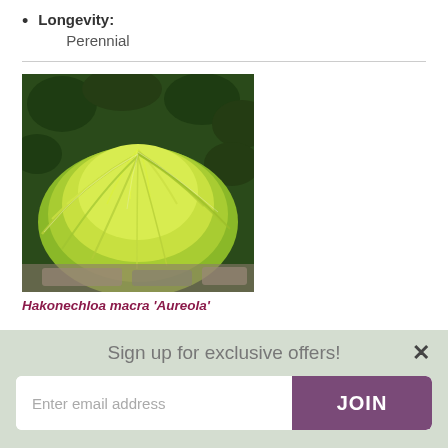Longevity: Perennial
[Figure (photo): Photo of Hakonechloa macra 'Aureola', a cascading ornamental grass with yellow-green variegated foliage against a dark green leafy background]
Hakonechloa macra 'Aureola'
Sign up for exclusive offers!
Enter email address
JOIN